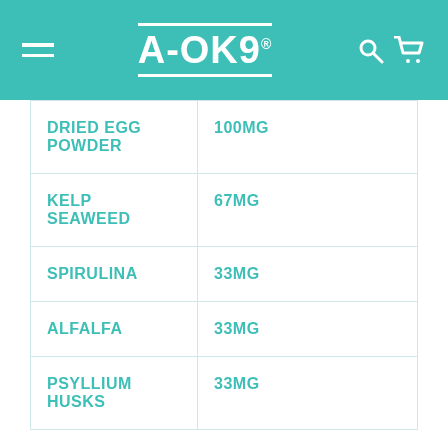A-OK9
| Ingredient | Amount |
| --- | --- |
| DRIED EGG POWDER | 100MG |
| KELP SEAWEED | 67MG |
| SPIRULINA | 33MG |
| ALFALFA | 33MG |
| PSYLLIUM HUSKS | 33MG |